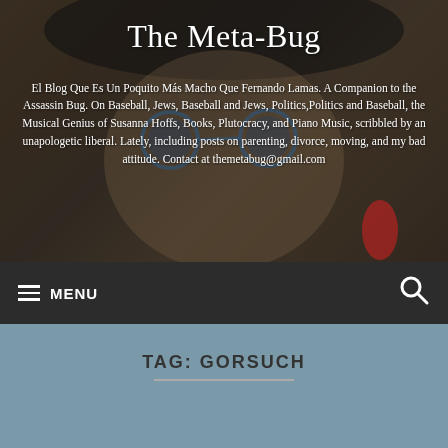[Figure (photo): Background photo of a person's face partially visible, dark and moody, with overlaid website header text. The person appears to be wearing a hat. Dark brownish-gray tones throughout.]
The Meta-Bug
El Blog Que Es Un Poquito Más Macho Que Fernando Lamas. A Companion to the Assassin Bug. On Baseball, Jews, Baseball and Jews, Politics,Politics and Baseball, the Musical Genius of Susanna Hoffs, Books, Plutocracy, and Piano Music, scribbled by an unapologetic liberal. Lately, including posts on parenting, divorce, moving, and my bad attitude. Contact at themetabug@gmail.com
≡ MENU
TAG: GORSUCH